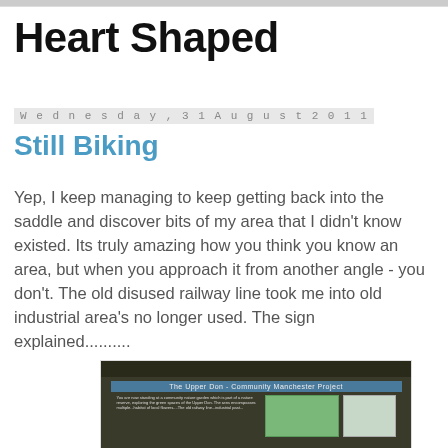Heart Shaped
Wednesday, 31 August 2011
Still Biking
Yep, I keep managing to keep getting back into the saddle and discover bits of my area that I didn't know existed. Its truly amazing how you think you know an area, but when you approach it from another angle - you don't. The old disused railway line took me into old industrial area's no longer used. The sign explained..........
[Figure (photo): A wooden information sign board reading 'The Upper Don - Community Manchester Project' with text panels and maps, photographed outdoors with trees in background]